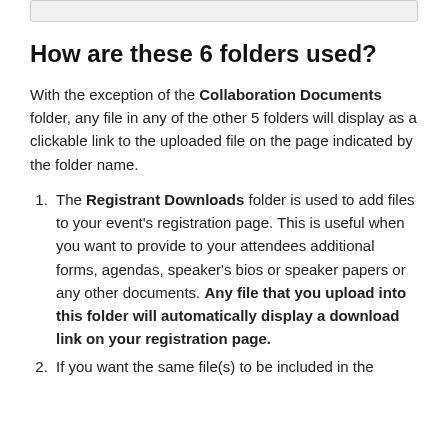How are these 6 folders used?
With the exception of the Collaboration Documents folder, any file in any of the other 5 folders will display as a clickable link to the uploaded file on the page indicated by the folder name.
The Registrant Downloads folder is used to add files to your event's registration page. This is useful when you want to provide to your attendees additional forms, agendas, speaker's bios or speaker papers or any other documents. Any file that you upload into this folder will automatically display a download link on your registration page.
If you want the same file(s) to be included in the